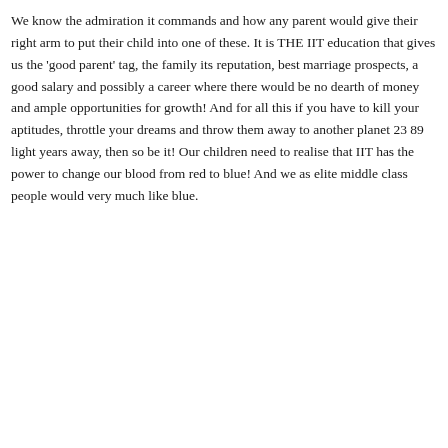We know the admiration it commands and how any parent would give their right arm to put their child into one of these. It is THE IIT education that gives us the 'good parent' tag, the family its reputation, best marriage prospects, a good salary and possibly a career where there would be no dearth of money and ample opportunities for growth! And for all this if you have to kill your aptitudes, throttle your dreams and throw them away to another planet 23 89 light years away, then so be it! Our children need to realise that IIT has the power to change our blood from red to blue! And we as elite middle class people would very much like blue.